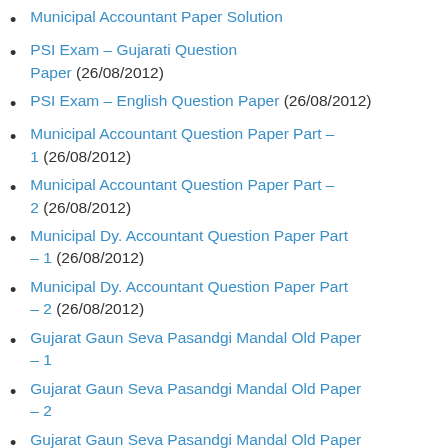Municipal Accountant Paper Solution
PSI Exam – Gujarati Question Paper (26/08/2012)
PSI Exam – English Question Paper (26/08/2012)
Municipal Accountant Question Paper Part – 1 (26/08/2012)
Municipal Accountant Question Paper Part – 2 (26/08/2012)
Municipal Dy. Accountant Question Paper Part – 1 (26/08/2012)
Municipal Dy. Accountant Question Paper Part – 2 (26/08/2012)
Gujarat Gaun Seva Pasandgi Mandal Old Paper – 1
Gujarat Gaun Seva Pasandgi Mandal Old Paper – 2
Gujarat Gaun Seva Pasandgi Mandal Old Paper